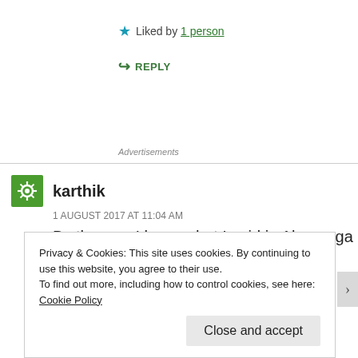★ Liked by 1 person
↪ REPLY
Advertisements
karthik
1 AUGUST 2017 AT 11:04 AM
By the way I hope what I said in Akame ga kill review sort
Privacy & Cookies: This site uses cookies. By continuing to use this website, you agree to their use.
To find out more, including how to control cookies, see here: Cookie Policy
Close and accept